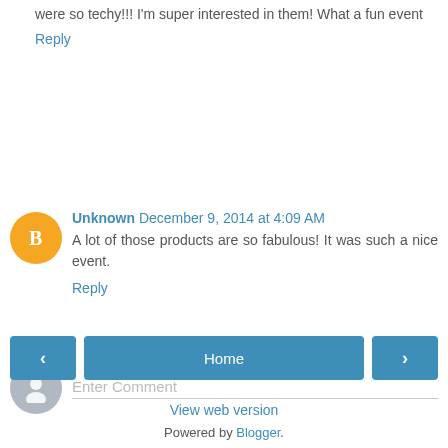were so techy!!! I'm super interested in them! What a fun event
Reply
Unknown December 9, 2014 at 4:09 AM
A lot of those products are so fabulous! It was such a nice event.
Reply
Enter Comment
Home
View web version
Powered by Blogger.